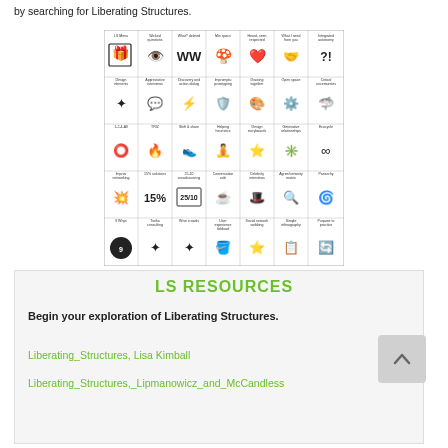by searching for Liberating Structures.
[Figure (illustration): Grid of Liberating Structures icons arranged in 5 rows by 7 columns, each cell containing a small icon and label for a different LS method (e.g., LS Menu, Wicked questions, What I need from you, Integrated autonomy, Design elements, Appreciative interviews, Discovery and action dialog, Impromptu prototyping, Drawing together, Open space, Critical uncertainties, 1-2-4-All, TRIZ, Shift and share, Helping heuristics, Design storyboards, Generative relationships, Ecocycle, Improv prototyping, 15% solutions, 25/10 crowdsourcing, Conversation cafe, Celebrity interviews, Agree/certainty matrix, Panarchy, 9 Whys, Troika consulting, Wise crowds, User experience fishbowl, Social network webbing, Simple ethnography, Purpose to practice)]
LS RESOURCES
Begin your exploration of Liberating Structures.
Liberating_Structures, Lisa Kimball
Liberating_Structures,_Lipmanowicz_and_McCandless